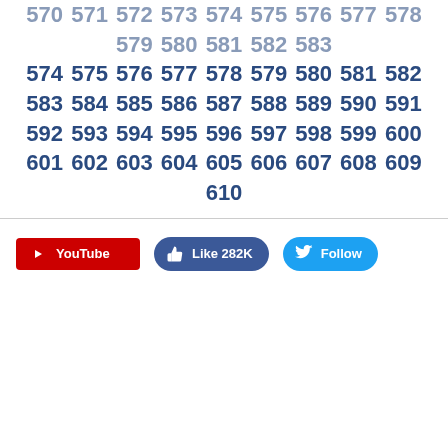570 571 572 573 574 575 576 577 578 579 580 581 582 583 584 585 586 587 588 589 590 591 592 593 594 595 596 597 598 599 600 601 602 603 604 605 606 607 608 609 610
[Figure (infographic): Three social media buttons: YouTube (red), Like 282K (Facebook blue), Follow (Twitter blue)]